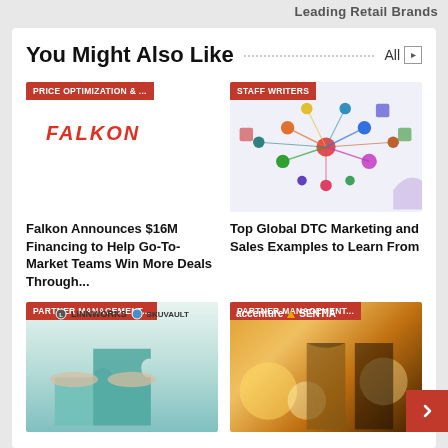Leading Retail Brands
You Might Also Like
[Figure (photo): Falkon branded finance/chart image with PRICE OPTIMIZATION & ... tag label]
Falkon Announces $16M Financing to Help Go-To-Market Teams Win More Deals Through...
[Figure (illustration): DTC marketing network diagram illustration with STAFF WRITERS tag label]
Top Global DTC Marketing and Sales Examples to Learn From
[Figure (photo): Linnworks and SkuVault logos with puzzle pieces photo with PARTNER MANAGEMENT... tag label]
[Figure (photo): Accenture and Sentia logos with puzzle pieces photo with PARTNER MANAGEMENT... tag label]